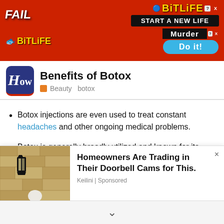[Figure (screenshot): BitLife mobile game advertisement banner with red background, showing 'FAIL' text, cartoon character, BitLife logo in yellow, 'START A NEW LIFE' black button, 'Murder' and 'Do it!' blue button elements]
Benefits of Botox | Beauty  botox
Botox injections are even used to treat constant headaches and other ongoing medical problems.
Botox is generally broadly utilized and known for its astounding enemy of maturing impact on wrinkles. it requires a very long time off your face, which is the main
[Figure (photo): Photo of a house exterior with a black lantern wall light fixture against a stone/stucco wall]
Homeowners Are Trading in Their Doorbell Cams for This.
Keilini | Sponsored
chevron down navigation